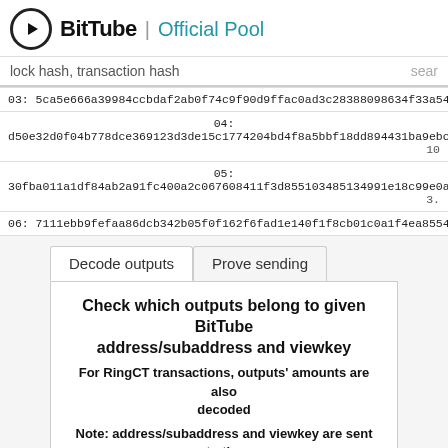BitTube | Official Pool
lock hash, transaction hash   sear
| 03: 5ca5e666a39984ccbdaf2ab0f74c9f90d9ffac0ad3c28388098634f33a54f2f1 163 |
| 04:
d50e32d0f04b778dce369123d3de15c1774204bd4f8a5bbf18dd894431ba9ebc  10 |
| 05:
30fba011a1df84ab2a91fc400a2c067608411f3d855103485134991e18c99e0a  3. |
| 06: 7111ebb9fefaa86dcb342b05f0f162f6fad1e140f1f8cb01c0a1f4ea85542d9f  3. |
Decode outputs | Prove sending
Check which outputs belong to given BitTube address/subaddress and viewkey
For RingCT transactions, outputs' amounts are also decoded
Note: address/subaddress and viewkey are sent to the server, as the calculations are done on the server side
BitTube address/subaddress
Private viewkey